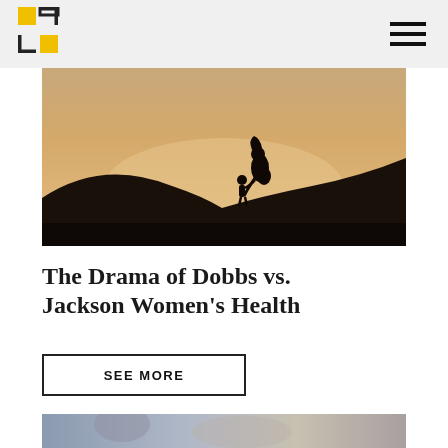[Figure (photo): Silhouette of a pregnant woman holding hands with a small child against a warm sunset sky, standing on a hillside.]
The Drama of Dobbs vs. Jackson Women’s Health
SEE MORE
[Figure (photo): Partial view of another article image at the bottom of the page.]